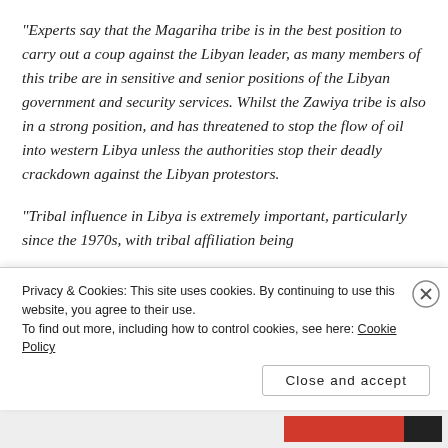“Experts say that the Magariha tribe is in the best position to carry out a coup against the Libyan leader, as many members of this tribe are in sensitive and senior positions of the Libyan government and security services. Whilst the Zawiya tribe is also in a strong position, and has threatened to stop the flow of oil into western Libya unless the authorities stop their deadly crackdown against the Libyan protestors.
“Tribal influence in Libya is extremely important, particularly since the 1970s, with tribal affiliation being
Privacy & Cookies: This site uses cookies. By continuing to use this website, you agree to their use.
To find out more, including how to control cookies, see here: Cookie Policy